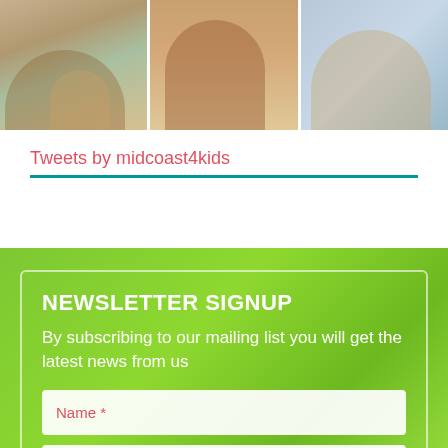[Figure (photo): Three-panel photo strip showing community/charity event scenes: left panel shows people in a room, center panel shows a woman facing camera, right panel shows a woman with boxes/shelving in background.]
Tweets by midcoast4kids
NEWSLETTER SIGNUP
By subscribing to our mailing list you will get the latest news from us
Name *
Mobile Number *